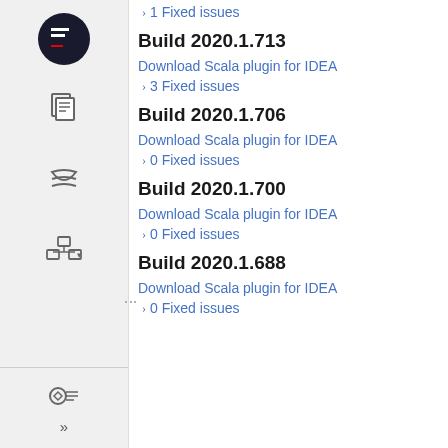1 Fixed issues
Build 2020.1.713
Download Scala plugin for IDEA
3 Fixed issues
Build 2020.1.706
Download Scala plugin for IDEA
0 Fixed issues
Build 2020.1.700
Download Scala plugin for IDEA
0 Fixed issues
Build 2020.1.688
Download Scala plugin for IDEA
0 Fixed issues